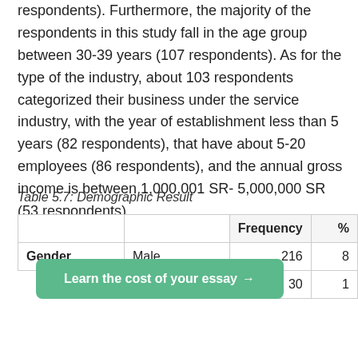respondents). Furthermore, the majority of the respondents in this study fall in the age group between 30-39 years (107 respondents). As for the type of the industry, about 103 respondents categorized their business under the service industry, with the year of establishment less than 5 years (82 respondents), that have about 5-20 employees (86 respondents), and the annual gross income is between 1,000,001 SR- 5,000,000 SR (53 respondents).
Table 5.7: Demographic Result
|  |  | Frequency | % |
| --- | --- | --- | --- |
| Gender | Male | 216 | 8 |
|  |  | 30 | 1 |